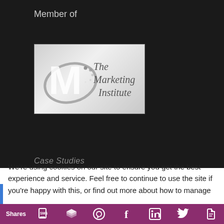Member of
[Figure (logo): The Marketing Institute logo — large M letter with a swoosh arc on the left and text 'The Marketing Institute' on the right, on a silver/gray gradient background]
Case Studies
We're using cookies on our site to ensure you get the best experience and service. Feel free to continue to use the site if you're happy with this, or find out more about how to manage
[Figure (infographic): Social sharing bar with icons: SMS/mobile, Buffer/layers, WhatsApp, Facebook, LinkedIn, Twitter, Evernote. Label: Shares]